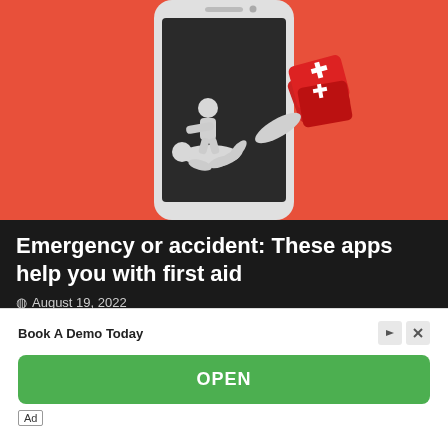[Figure (illustration): Hero image showing a smartphone with orange/red background. A 3D white figure performing CPR on another lying figure, with a red first aid kit floating nearby. The phone is centered, displayed upright with a dark screen interior containing the scene.]
Emergency or accident: These apps help you with first aid
August 19, 2022
We do not need to know about medicine to face our day to day but there are always a series of techniques or practices that [...]
Book A Demo Today
OPEN
Ad